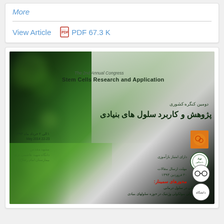More
View Article   PDF 67.3 K
[Figure (photo): Conference poster for The 2nd Annual Congress on Stem Cells Research and Application (دومین کنگره کشوری پژوهش و کاربرد سلول های بنیادی), 22-23 May 2014, with Persian text and green bokeh background]